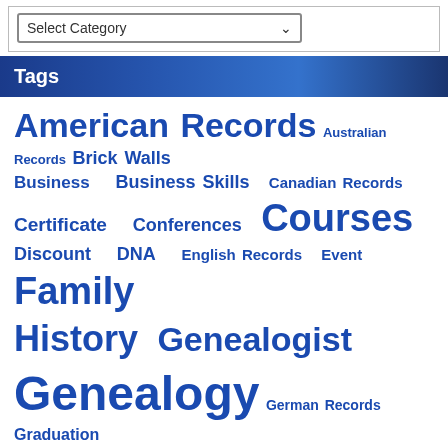Select Category
Tags
American Records
Australian Records
Brick Walls
Business
Business Skills
Canadian Records
Certificate
Conferences
Courses
Discount
DNA
English Records
Event
Family History
Genealogist
Genealogy
German Records
Graduation
Information
Irish Records
Italian Records
Lecturing Skills
Mayflower
Methodology
Military
News
Newspapers
Online Education
Packages
Photographs
Photography
Professional Development Certificate
Research
RootsTech
Scottish Records
SkillBuilding
Skill Building
Student Lecture
Timelines
Transcription